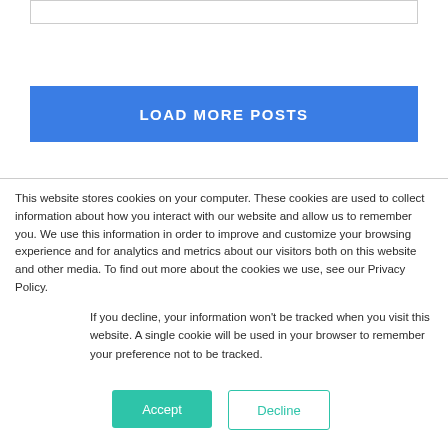[Figure (screenshot): Top portion of a white input/card box with light gray border]
[Figure (screenshot): Blue 'LOAD MORE POSTS' button]
This website stores cookies on your computer. These cookies are used to collect information about how you interact with our website and allow us to remember you. We use this information in order to improve and customize your browsing experience and for analytics and metrics about our visitors both on this website and other media. To find out more about the cookies we use, see our Privacy Policy.
If you decline, your information won't be tracked when you visit this website. A single cookie will be used in your browser to remember your preference not to be tracked.
[Figure (screenshot): Accept button (teal/green filled) and Decline button (teal/green outlined)]